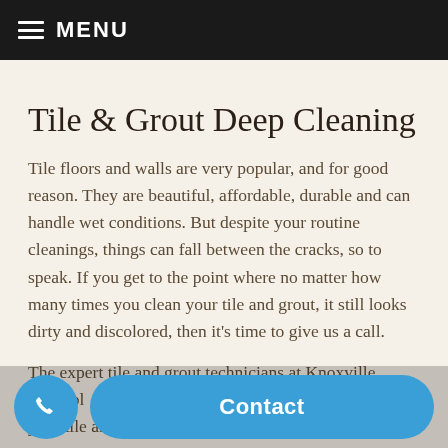MENU
Tile & Grout Deep Cleaning
Tile floors and walls are very popular, and for good reason. They are beautiful, affordable, durable and can handle wet conditions. But despite your routine cleanings, things can fall between the cracks, so to speak. If you get to the point where no matter how many times you clean your tile and grout, it still looks dirty and discolored, then it's time to give us a call.
The expert tile and grout technicians at Knoxville M... Pol... ed can professionally clean and sanitize your tile and